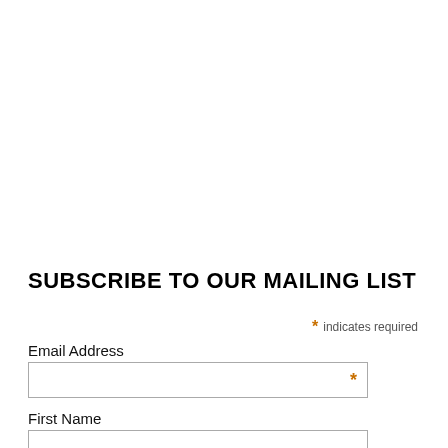SUBSCRIBE TO OUR MAILING LIST
* indicates required
Email Address
First Name